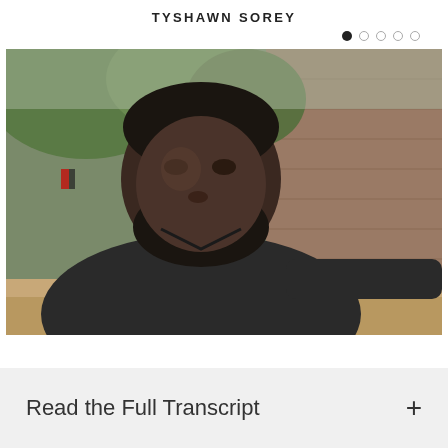TYSHAWN SOREY
[Figure (photo): Portrait photo of Tyshawn Sorey, a Black man with a beard, wearing a dark shirt, seated outdoors leaning on a railing, with a brick building and trees visible in the background.]
Read the Full Transcript